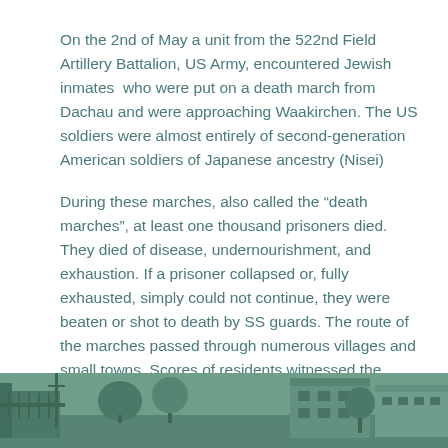On the 2nd of May a unit from the 522nd Field Artillery Battalion, US Army, encountered Jewish inmates who were put on a death march from Dachau and were approaching Waakirchen. The US soldiers were almost entirely of second-generation American soldiers of Japanese ancestry (Nisei)
During these marches, also called the “death marches”, at least one thousand prisoners died. They died of disease, undernourishment, and exhaustion. If a prisoner collapsed or, fully exhausted, simply could not continue, they were beaten or shot to death by SS guards. The route of the marches passed through numerous villages and small towns. Scores of residents witnessed the brutal marches.
[Figure (photo): Black and white photograph with greenish tint showing a street scene with buildings, trees, and utility poles, likely a European town.]